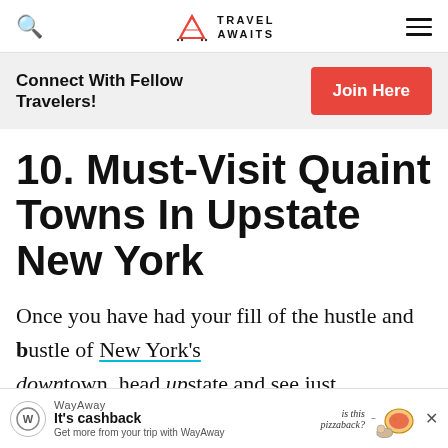Travel Awaits
Connect With Fellow Travelers!
Join Here
10. Must-Visit Quaint Towns In Upstate New York
Once you have had your fill of the hustle and bustle of New York's downtown, head upstate and see just how
[Figure (other): WayAway advertisement banner with pizza illustration. Text: WayAway - It's cashback - Get more from your trip with WayAway. 'is this pizzaback?' slogan with cartoon pizza illustration.]